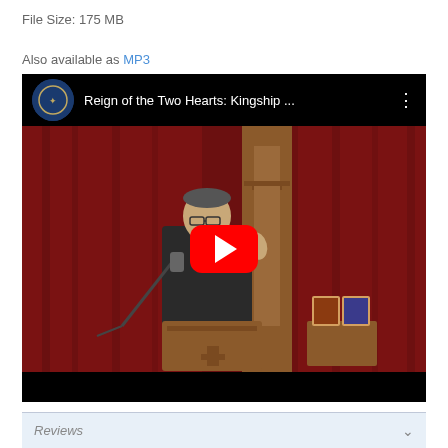File Size: 175 MB
Also available as MP3
[Figure (screenshot): YouTube video embed showing a man in a suit speaking at a podium with a microphone, in front of dark red curtains with a wooden cross/panel behind him. Icons are visible on a small table. The video title reads 'Reign of the Two Hearts: Kingship ...' with a red YouTube play button overlay. A channel icon is visible in the top left.]
Reviews